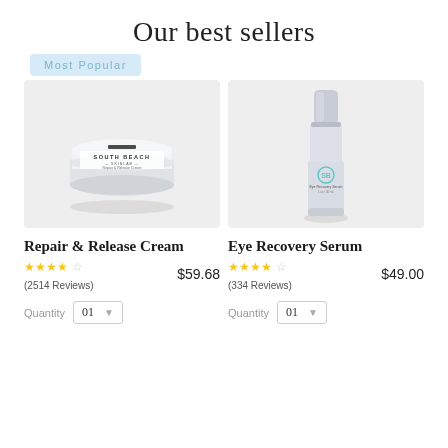Our best sellers
Most Popular
[Figure (photo): South Beach Skin Lab Repair & Release Cream jar product photo on light gray background]
[Figure (photo): South Beach Skin Lab Eye Recovery Serum bottle product photo on light gray background]
Repair & Release Cream
Eye Recovery Serum
★★★★☆ (2514 Reviews)  $59.68
★★★★☆ (334 Reviews)  $49.00
Quantity  01
Quantity  01